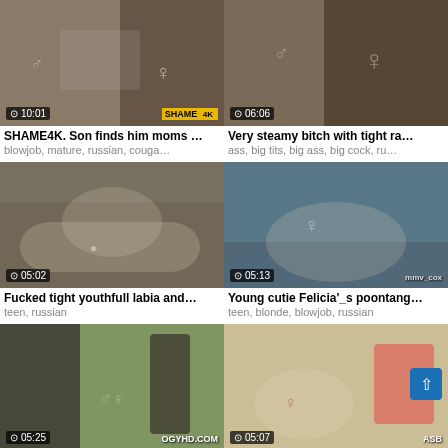[Figure (screenshot): Video thumbnail 1 with duration 10:01 and SHAME 4K brand]
SHAME4K. Son finds him moms …
blowjob, mature, russian, couga…
[Figure (screenshot): Video thumbnail 2 with duration 06:06]
Very steamy bitch with tight ra…
ass, big tits, big ass, big cock, ru…
[Figure (screenshot): Video thumbnail 3 with duration 05:02]
Fucked tight youthfull labia and…
teen, russian
[Figure (screenshot): Video thumbnail 4 with duration 05:13 and mmv_cox brand]
Young cutie Felicia'_s poontang…
teen, blonde, blowjob, russian
[Figure (screenshot): Video thumbnail 5 with duration 05:25 and OGYHD.COM brand]
Insatiable russian black-haired …
russian, black, teen, blowjob, am…
[Figure (screenshot): Video thumbnail 6 with duration 05:07 and ASB brand]
Divine girl prays for tear up
anal, teen, blowjob, russian